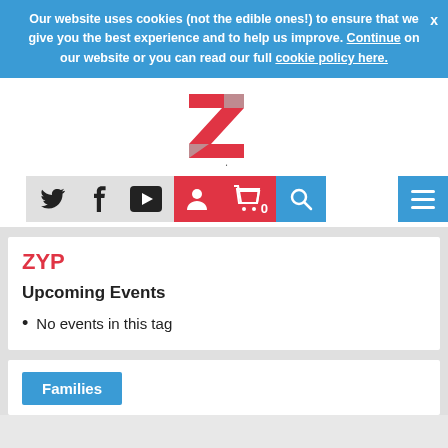Our website uses cookies (not the edible ones!) to ensure that we give you the best experience and to help us improve. Continue on our website or you can read our full cookie policy here.
[Figure (logo): Z arts logo - stylized red and grey letter Z above the word 'arts' in grey]
[Figure (screenshot): Navigation bar with social media icons (Twitter, Facebook, YouTube), red user/basket icons with '0', blue search icon, and blue hamburger menu icon]
ZYP
Upcoming Events
No events in this tag
Families